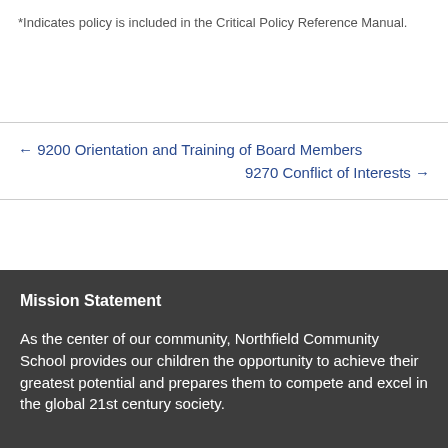*Indicates policy is included in the Critical Policy Reference Manual.
← 9200 Orientation and Training of Board Members
9270 Conflict of Interests →
Mission Statement
As the center of our community, Northfield Community School provides our children the opportunity to achieve their greatest potential and prepares them to compete and excel in the global 21st century society.